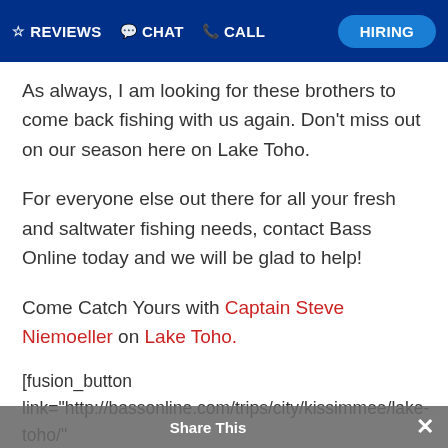REVIEWS  CHAT  CALL  HIRING
As always, I am looking for these brothers to come back fishing with us again. Don't miss out on our season here on Lake Toho.
For everyone else out there for all your fresh and saltwater fishing needs, contact Bass Online today and we will be glad to help!
Come Catch Yours with Captain Steve Niemoeller on Lake Toho.
[fusion_button link="http://bassonline.com/trips/city/kissimmee/lake-toho/" title="BOOK YOUR LAKE TOHO FISHING TRIP ONLINE NOW!" target="_self" alignment="center" modal="" hide_on_mobile="small-visibility,medium-visibility,large-visibility" class="" id=""
Share This